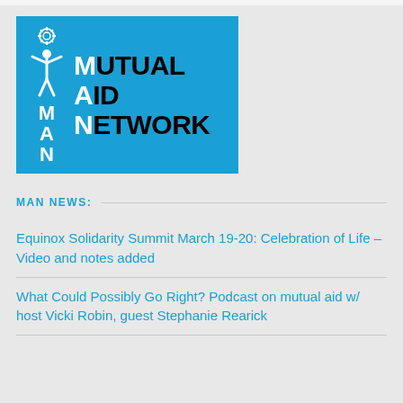[Figure (logo): Mutual Aid Network logo — blue rectangle with white gear icon, figure with raised arms, and bold black text reading MUTUAL AID NETWORK with white first letters M, A, N highlighted]
MAN NEWS:
Equinox Solidarity Summit March 19-20: Celebration of Life – Video and notes added
What Could Possibly Go Right? Podcast on mutual aid w/ host Vicki Robin, guest Stephanie Rearick